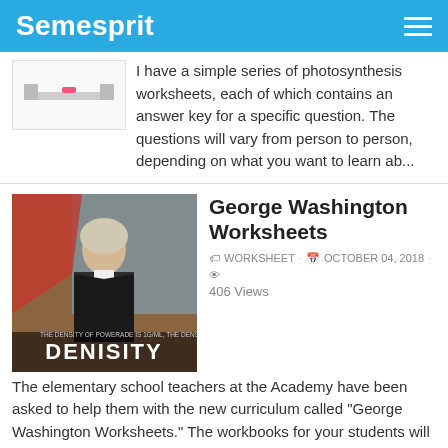Semesprit
I have a simple series of photosynthesis worksheets, each of which contains an answer key for a specific question. The questions will vary from person to person, depending on what you want to learn ab...
George Washington Worksheets
WORKSHEET · OCTOBER 04, 2018 · 406 Views
The elementary school teachers at the Academy have been asked to help them with the new curriculum called "George Washington Worksheets." The workbooks for your students will help them understand some...
Multiply Using Partial Products 4th Grade Worksheets